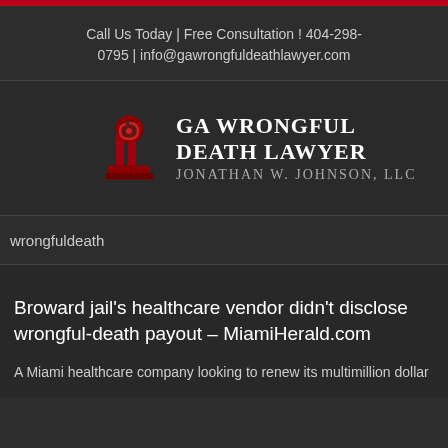Call Us Today | Free Consultation ! 404-298-0795  |  info@gawrongfuldeathlawyer.com
[Figure (logo): GA Wrongful Death Lawyer logo with red column capital icon and text: GA WRONGFUL DEATH LAWYER / JONATHAN W. JOHNSON, LLC]
wrongfuldeath
Broward jail's healthcare vendor didn't disclose wrongful-death payout – MiamiHerald.com
A Miami healthcare company looking to renew its multimillion dollar